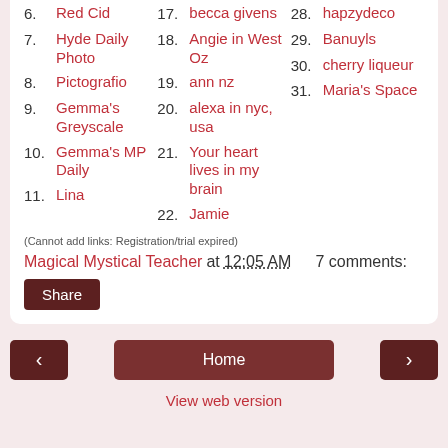6. Red Cid
7. Hyde Daily Photo
8. Pictografio
9. Gemma's Greyscale
10. Gemma's MP Daily
11. Lina
17. becca givens
18. Angie in West Oz
19. ann nz
20. alexa in nyc, usa
21. Your heart lives in my brain
22. Jamie
28. hapzydeco
29. Banuyls
30. cherry liqueur
31. Maria's Space
(Cannot add links: Registration/trial expired)
Magical Mystical Teacher at 12:05 AM   7 comments:
Share
‹   Home   ›
View web version